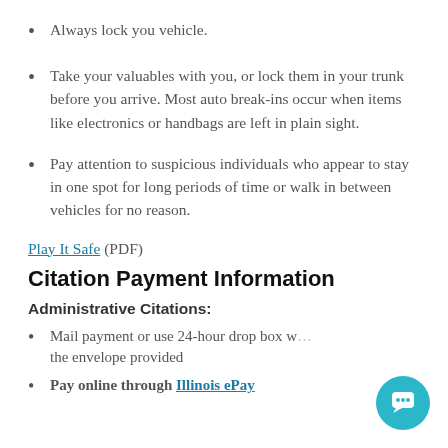Always lock you vehicle.
Take your valuables with you, or lock them in your trunk before you arrive. Most auto break-ins occur when items like electronics or handbags are left in plain sight.
Pay attention to suspicious individuals who appear to stay in one spot for long periods of time or walk in between vehicles for no reason.
Play It Safe (PDF)
Citation Payment Information
Administrative Citations:
Mail payment or use 24-hour drop box with the envelope provided
Pay online through Illinois ePay